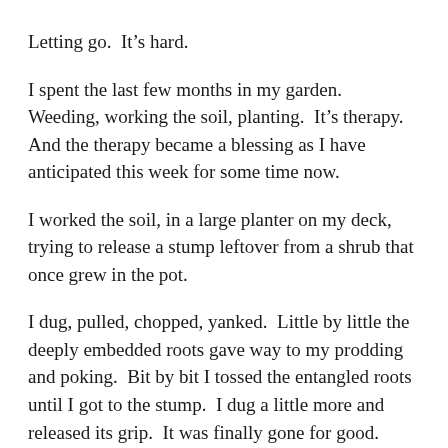Letting go.  It's hard.
I spent the last few months in my garden.  Weeding, working the soil, planting.  It's therapy.  And the therapy became a blessing as I have anticipated this week for some time now.
I worked the soil, in a large planter on my deck, trying to release a stump leftover from a shrub that once grew in the pot.
I dug, pulled, chopped, yanked.  Little by little the deeply embedded roots gave way to my prodding and poking.  Bit by bit I tossed the entangled roots until I got to the stump.  I dug a little more and released its grip.  It was finally gone for good.